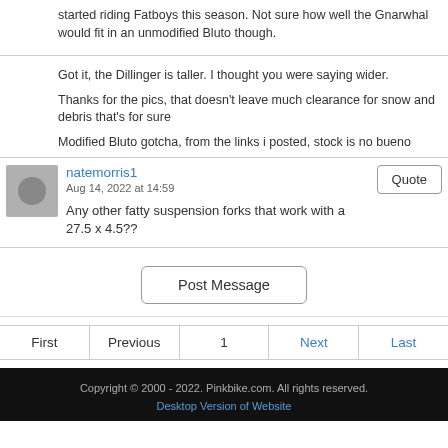started riding Fatboys this season. Not sure how well the Gnarwhal would fit in an unmodified Bluto though.
Got it, the Dillinger is taller. I thought you were saying wider.
Thanks for the pics, that doesn't leave much clearance for snow and debris that's for sure
Modified Bluto gotcha, from the links i posted, stock is no bueno
natemorris1
Aug 14, 2022 at 14:59
Any other fatty suspension forks that work with a 27.5 x 4.5??
Post Message
First
Previous
1
Next
Last
Copyright © 2000 - 2022. Pinkbike.com. All rights reserved. Desktop Version of Website